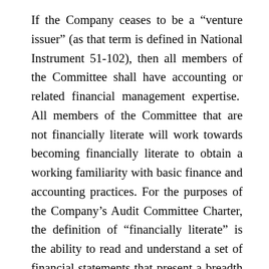If the Company ceases to be a “venture issuer” (as that term is defined in National Instrument 51-102), then all members of the Committee shall have accounting or related financial management expertise.  All members of the Committee that are not financially literate will work towards becoming financially literate to obtain a working familiarity with basic finance and accounting practices. For the purposes of the Company’s Audit Committee Charter, the definition of “financially literate” is the ability to read and understand a set of financial statements that present a breadth and level of complexity of accounting issues that are generally comparable to the breadth and